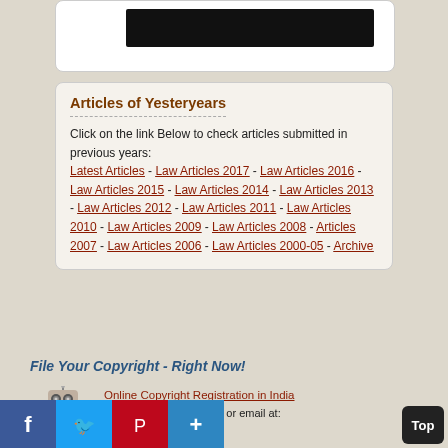[Figure (other): Black redacted bar inside a white rounded box at the top]
Articles of Yesteryears
Click on the link Below to check articles submitted in previous years: Latest Articles - Law Articles 2017 - Law Articles 2016 - Law Articles 2015 - Law Articles 2014 - Law Articles 2013 - Law Articles 2012 - Law Articles 2011 - Law Articles 2010 - Law Articles 2009 - Law Articles 2008 - Articles 2007 - Law Articles 2006 - Law Articles 2000-05 - Archive
File Your Copyright - Right Now!
[Figure (illustration): Robot/copyright mascot illustration with binoculars and COPYRIGHT label]
Online Copyright Registration in India
Call us at: 9891244487 / or email at: @legalserviceindia.com
Facebook Twitter Pinterest Plus Top